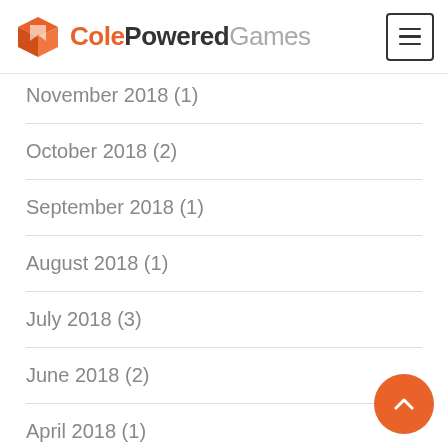ColePoweredGames
November 2018 (1)
October 2018 (2)
September 2018 (1)
August 2018 (1)
July 2018 (3)
June 2018 (2)
April 2018 (1)
August 2017 (1)
May 2017 (1)
March 2017 (1)
January 2017 (1)